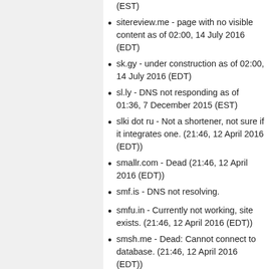(EST)
sitereview.me - page with no visible content as of 02:00, 14 July 2016 (EDT)
sk.gy - under construction as of 02:00, 14 July 2016 (EDT)
sl.ly - DNS not responding as of 01:36, 7 December 2015 (EST)
slki dot ru - Not a shortener, not sure if it integrates one. (21:46, 12 April 2016 (EDT))
smallr.com - Dead (21:46, 12 April 2016 (EDT))
smf.is - DNS not resolving.
smfu.in - Currently not working, site exists. (21:46, 12 April 2016 (EDT))
smsh.me - Dead: Cannot connect to database. (21:46, 12 April 2016 (EDT))
snipie.com - Dead (21:46, 12 April